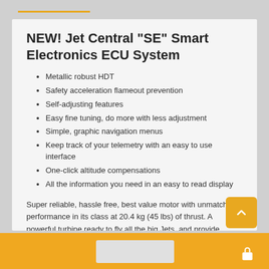NEW! Jet Central “SE” Smart Electronics ECU System
Metallic robust HDT
Safety acceleration flameout prevention
Self-adjusting features
Easy fine tuning, do more with less adjustment
Simple, graphic navigation menus
Keep track of your telemetry with an easy to use interface
One-click altitude compensations
All the information you need in an easy to read display
Super reliable, hassle free, best value motor with unmatched performance in its class at 20.4 kg (45 lbs) of thrust. A powerful turbine ready to fly all the big Jets, and provide enough thrust for an awesome performance and the fastest acceleration in its cl
The JET CENTRAL TURBINES ENGINES are in its own right a